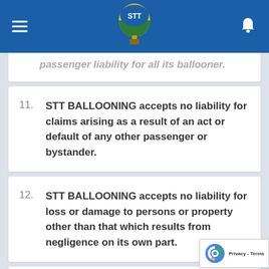STT BALLOONING - header with logo and navigation
passenger liability for all its ballooner.
11. STT BALLOONING accepts no liability for claims arising as a result of an act or default of any other passenger or bystander.
12. STT BALLOONING accepts no liability for loss or damage to persons or property other than that which results from negligence on its own part.
13. STT BALLOONING will not accept liability for loss or damage to personal effects taken on